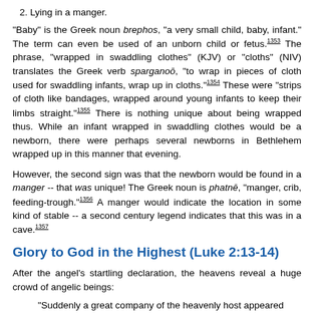2. Lying in a manger.
"Baby" is the Greek noun brephos, "a very small child, baby, infant." The term can even be used of an unborn child or fetus.1353 The phrase, "wrapped in swaddling clothes" (KJV) or "cloths" (NIV) translates the Greek verb sparganoō, "to wrap in pieces of cloth used for swaddling infants, wrap up in cloths."1354 These were "strips of cloth like bandages, wrapped around young infants to keep their limbs straight."1355 There is nothing unique about being wrapped thus. While an infant wrapped in swaddling clothes would be a newborn, there were perhaps several newborns in Bethlehem wrapped up in this manner that evening.
However, the second sign was that the newborn would be found in a manger -- that was unique! The Greek noun is phatnē, "manger, crib, feeding-trough."1356 A manger would indicate the location in some kind of stable -- a second century legend indicates that this was in a cave.1357
Glory to God in the Highest (Luke 2:13-14)
After the angel's startling declaration, the heavens reveal a huge crowd of angelic beings:
"Suddenly a great company of the heavenly host appeared with the angel, praising God and saying,
'Glory to God in the highest,
and on earth peace to men on whom his favor rests.'" (2:13-14)